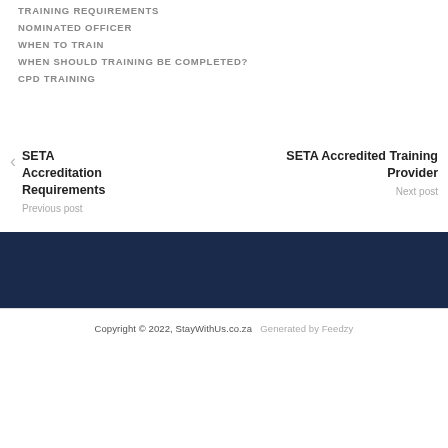TRAINING REQUIREMENTS
NOMINATED OFFICER
WHEN TO TRAIN
WHEN SHOULD TRAINING BE COMPLETED?
CPD TRAINING
SETA Accreditation Requirements — Previous post
SETA Accredited Training Provider — Next post
Copyright © 2022, StayWithUs.co.za  Generated by Feedzy